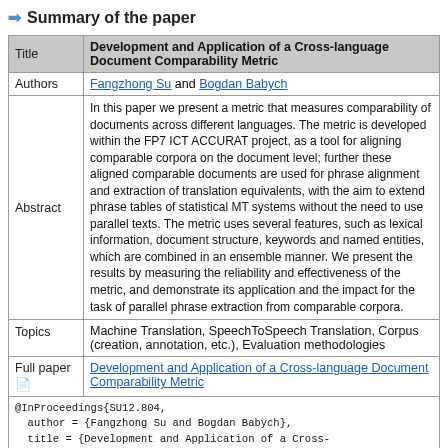Summary of the paper
|  |  |
| --- | --- |
| Title | Development and Application of a Cross-language Document Comparability Metric |
| Authors | Fangzhong Su and Bogdan Babych |
| Abstract | In this paper we present a metric that measures comparability of documents across different languages. The metric is developed within the FP7 ICT ACCURAT project, as a tool for aligning comparable corpora on the document level; further these aligned comparable documents are used for phrase alignment and extraction of translation equivalents, with the aim to extend phrase tables of statistical MT systems without the need to use parallel texts. The metric uses several features, such as lexical information, document structure, keywords and named entities, which are combined in an ensemble manner. We present the results by measuring the reliability and effectiveness of the metric, and demonstrate its application and the impact for the task of parallel phrase extraction from comparable corpora. |
| Topics | Machine Translation, SpeechToSpeech Translation, Corpus (creation, annotation, etc.), Evaluation methodologies |
| Full paper | Development and Application of a Cross-language Document Comparability Metric |
|  | @InProceedings{SU12.804,
  author = {Fangzhong Su and Bogdan Babych},
  title = {Development and Application of a Cross-
language Document Comparability Metric},
  booktitle = {Proceedings of the Eight
International Conference on Language Resources and |